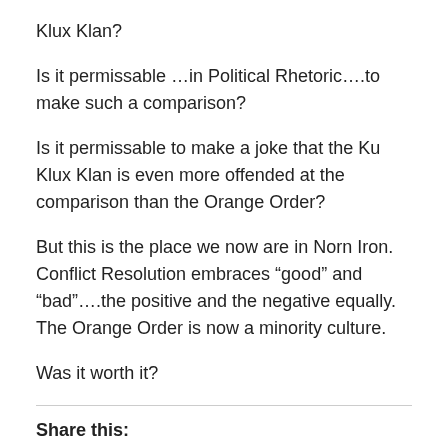Klux Klan?
Is it permissable …in Political Rhetoric….to make such a comparison?
Is it permissable to make a joke that the Ku Klux Klan is even more offended at the comparison than the Orange Order?
But this is the place we now are in Norn Iron. Conflict Resolution embraces “good” and “bad”….the positive and the negative equally. The Orange Order is now a minority culture.
Was it worth it?
Share this: